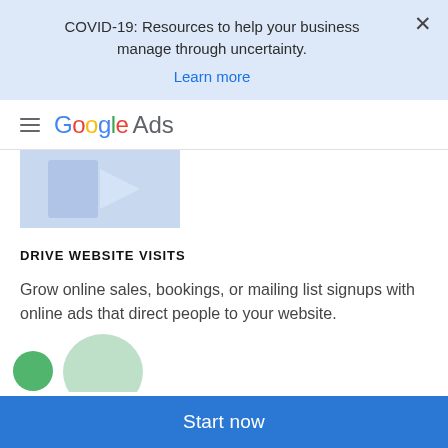COVID-19: Resources to help your business manage through uncertainty.
Learn more
Google Ads
[Figure (illustration): Partially visible illustration showing a blue-toned graphic with a cursor/arrow icon]
DRIVE WEBSITE VISITS
Grow online sales, bookings, or mailing list signups with online ads that direct people to your website.
[Figure (illustration): Partially visible green circular illustration at bottom left]
Start now